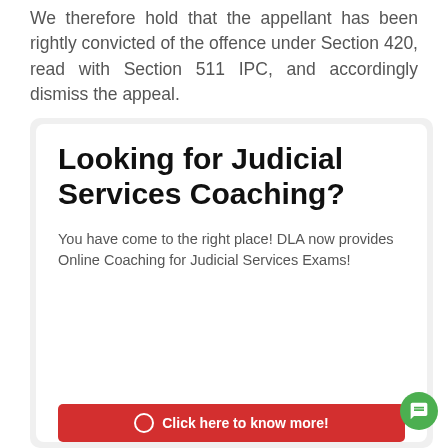We therefore hold that the appellant has been rightly convicted of the offence under Section 420, read with Section 511 IPC, and accordingly dismiss the appeal.
[Figure (infographic): Advertisement card for Judicial Services Coaching. Title: 'Looking for Judicial Services Coaching?' Body text: 'You have come to the right place! DLA now provides Online Coaching for Judicial Services Exams!' Red button at bottom: 'Click here to know more!']